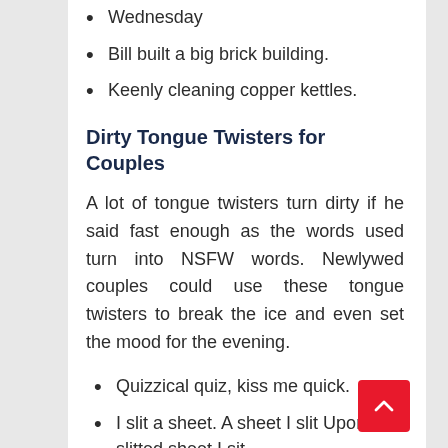Wednesday
Bill built a big brick building.
Keenly cleaning copper kettles.
Dirty Tongue Twisters for Couples
A lot of tongue twisters turn dirty if he said fast enough as the words used turn into NSFW words. Newlywed couples could use these tongue twisters to break the ice and even set the mood for the evening.
Quizzical quiz, kiss me quick.
I slit a sheet. A sheet I slit Upon a slitted sheet I sit
Don't spring on the inner-spring this spring or there will be an